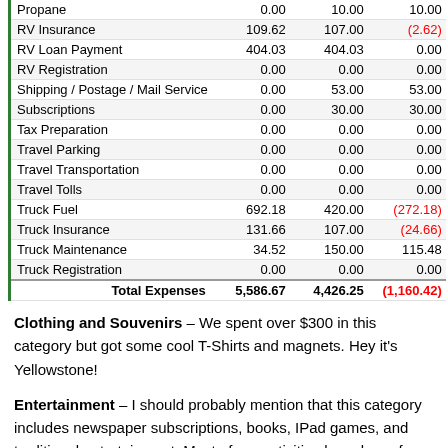| Category | Actual | Budget | Difference |
| --- | --- | --- | --- |
| Propane | 0.00 | 10.00 | 10.00 |
| RV Insurance | 109.62 | 107.00 | (2.62) |
| RV Loan Payment | 404.03 | 404.03 | 0.00 |
| RV Registration | 0.00 | 0.00 | 0.00 |
| Shipping / Postage / Mail Service | 0.00 | 53.00 | 53.00 |
| Subscriptions | 0.00 | 30.00 | 30.00 |
| Tax Preparation | 0.00 | 0.00 | 0.00 |
| Travel Parking | 0.00 | 0.00 | 0.00 |
| Travel Transportation | 0.00 | 0.00 | 0.00 |
| Travel Tolls | 0.00 | 0.00 | 0.00 |
| Truck Fuel | 692.18 | 420.00 | (272.18) |
| Truck Insurance | 131.66 | 107.00 | (24.66) |
| Truck Maintenance | 34.52 | 150.00 | 115.48 |
| Truck Registration | 0.00 | 0.00 | 0.00 |
| Total Expenses | 5,586.67 | 4,426.25 | (1,160.42) |
Clothing and Souvenirs – We spent over $300 in this category but got some cool T-Shirts and magnets. Hey it's Yellowstone!
Entertainment – I should probably mention that this category includes newspaper subscriptions, books, IPad games, and traditional entertainment. Most of our activities have been free but we still racked up $456.